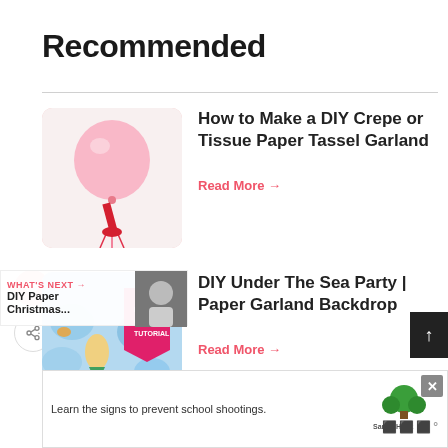Recommended
[Figure (photo): Pink balloon with red ribbon and pink tassel garland]
How to Make a DIY Crepe or Tissue Paper Tassel Garland
Read More →
[Figure (photo): Under the sea party decoration with blue tissue paper, mermaid, and pink banner]
DIY Under The Sea Party | Paper Garland Backdrop
Read More →
[Figure (photo): What's Next: DIY Paper Christmas... thumbnail]
[Figure (photo): Advertisement: Learn the signs to prevent school shootings. Sandy Hook Promise logo]